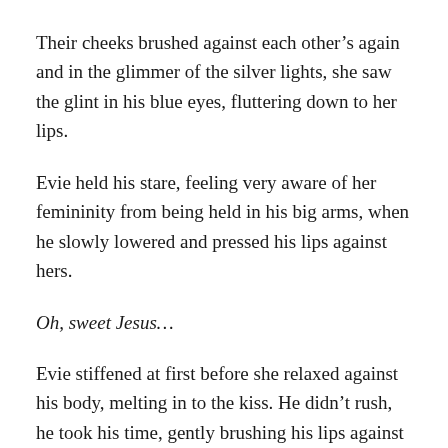Their cheeks brushed against each other’s again and in the glimmer of the silver lights, she saw the glint in his blue eyes, fluttering down to her lips.
Evie held his stare, feeling very aware of her femininity from being held in his big arms, when he slowly lowered and pressed his lips against hers.
Oh, sweet Jesus…
Evie stiffened at first before she relaxed against his body, melting in to the kiss. He didn’t rush, he took his time, gently brushing his lips against hers as he softly cupped her jaw, kissing her with a tentative curiosity.